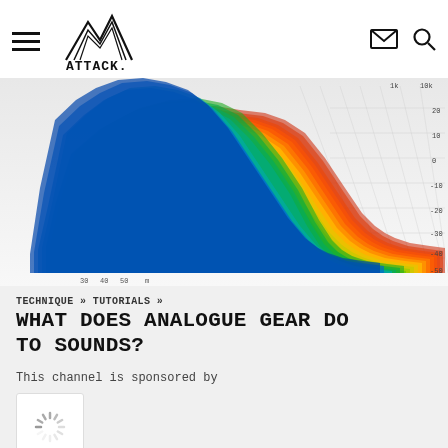ATTACK. [navigation: hamburger menu, mail icon, search icon]
[Figure (continuous-plot): 3D waterfall spectrum analysis plot showing frequency response over time, colored from blue/green at bottom to yellow/red at top peaks, with gridlines and axis labels showing frequency (30, 40, 50, m) on x-axis and dB values (-50 to 20) on right y-axis. Dense layered spectrogram with sharp peaks.]
TECHNIQUE » TUTORIALS »
WHAT DOES ANALOGUE GEAR DO TO SOUNDS?
This channel is sponsored by